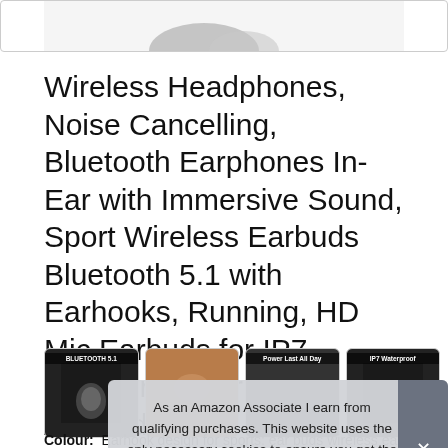[Figure (photo): Top portion of a product image showing wireless earbuds/headphones, partially cropped]
Wireless Headphones, Noise Cancelling, Bluetooth Earphones In-Ear with Immersive Sound, Sport Wireless Earbuds Bluetooth 5.1 with Earhooks, Running, HD Mic Earbuds for IP7 Waterproof, for iOS Android
[Figure (photo): Row of four product thumbnail images: Bluetooth 5.1 label, product in use, Power Last All Day label, IP7 Waterproof label]
As an Amazon Associate I earn from qualifying purchases. This website uses the only necessary cookies to ensure you get the best experience on our website. More information
Colour: Earhook design for sports: ear buds wireless earbuds